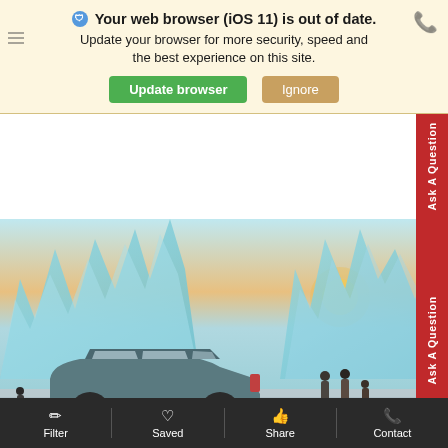Your web browser (iOS 11) is out of date. Update your browser for more security, speed and the best experience on this site.
Update browser | Ignore
[Figure (photo): SUV car parked in front of ice sculptures at dusk with people walking nearby]
Filter | Saved | Share | Contact